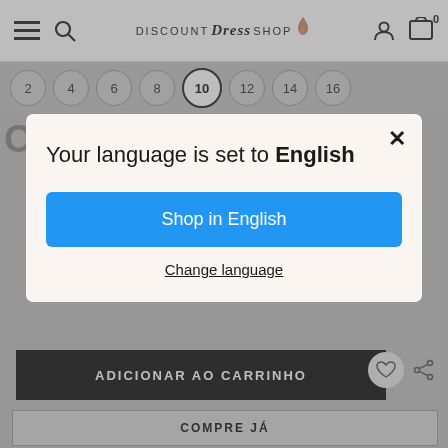[Figure (screenshot): Navigation bar with hamburger menu, search icon, Discount Dress Shop logo, user account icon, and cart icon with 0 items]
[Figure (screenshot): Size selector row with sizes 2, 4, 6, 8, 10 (selected/active), 12, 14, 16]
[Figure (screenshot): Background page content grayed out showing product page with ADICIONAR AO CARRINHO button and heart/share icons]
Your language is set to English
Shop in English
Change language
COMPRE JÁ